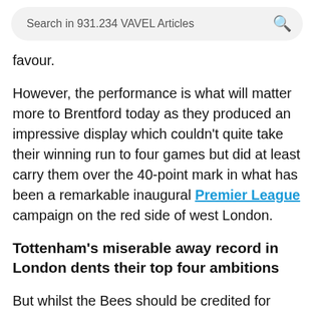Search in 931.234 VAVEL Articles
favour.
However, the performance is what will matter more to Brentford today as they produced an impressive display which couldn't quite take their winning run to four games but did at least carry them over the 40-point mark in what has been a remarkable inaugural Premier League campaign on the red side of west London.
Tottenham's miserable away record in London dents their top four ambitions
But whilst the Bees should be credited for their display, it could be absolutely right to state that